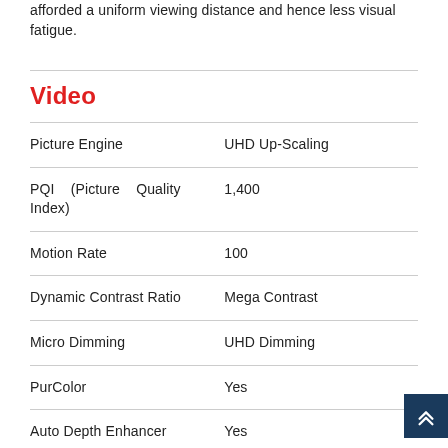afforded a uniform viewing distance and hence less visual fatigue.
Video
| Feature | Value |
| --- | --- |
| Picture Engine | UHD Up-Scaling |
| PQI (Picture Quality Index) | 1,400 |
| Motion Rate | 100 |
| Dynamic Contrast Ratio | Mega Contrast |
| Micro Dimming | UHD Dimming |
| PurColor | Yes |
| Auto Depth Enhancer | Yes |
| Auto Motion Plus | Yes |